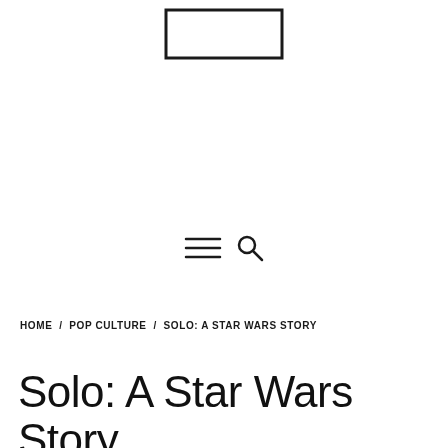[Figure (logo): A rectangular outline logo placeholder at the top center of the page]
[Figure (other): Hamburger menu icon (three horizontal lines) and a magnifying glass search icon]
HOME / POP CULTURE / SOLO: A STAR WARS STORY
Solo: A Star Wars Story